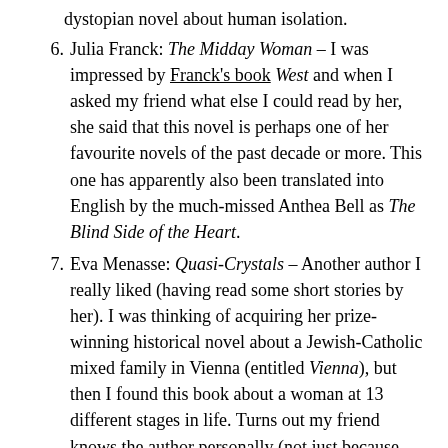dystopian novel about human isolation.
6. Julia Franck: The Midday Woman – I was impressed by Franck's book West and when I asked my friend what else I could read by her, she said that this novel is perhaps one of her favourite novels of the past decade or more. This one has apparently also been translated into English by the much-missed Anthea Bell as The Blind Side of the Heart.
7. Eva Menasse: Quasi-Crystals – Another author I really liked (having read some short stories by her). I was thinking of acquiring her prize-winning historical novel about a Jewish-Catholic mixed family in Vienna (entitled Vienna), but then I found this book about a woman at 13 different stages in life. Turns out my friend knows the author personally (not just because Vienna is a small town and she is of the same age